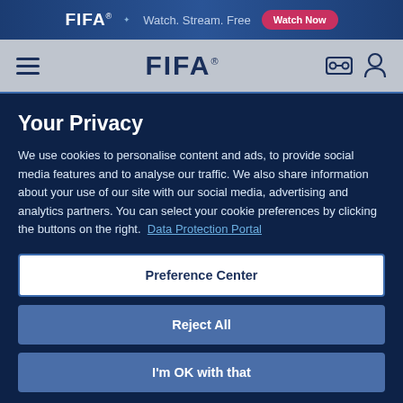FIFA+ Watch. Stream. Free Watch Now
[Figure (screenshot): FIFA website navigation bar with hamburger menu, FIFA logo, ticket icon and user icon on grey background]
Your Privacy
We use cookies to personalise content and ads, to provide social media features and to analyse our traffic. We also share information about your use of our site with our social media, advertising and analytics partners. You can select your cookie preferences by clicking the buttons on the right.  Data Protection Portal
Preference Center
Reject All
I'm OK with that